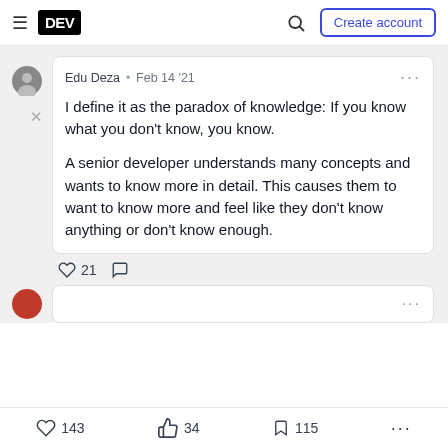DEV — Create account
Edu Deza · Feb 14 '21
I define it as the paradox of knowledge: If you know what you don't know, you know.

A senior developer understands many concepts and wants to know more in detail. This causes them to want to know more and feel like they don't know anything or don't know enough.
♡ 21  ○
♡ 143   34   115   ...